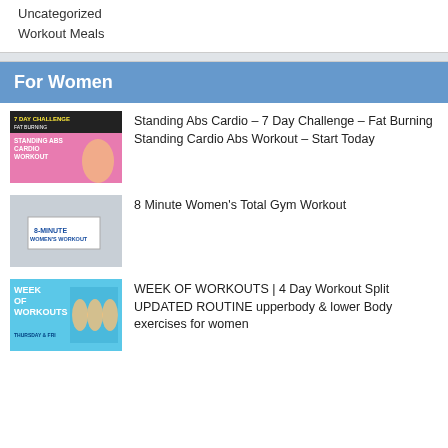Uncategorized
Workout Meals
For Women
[Figure (photo): Thumbnail for 7 Day Challenge Fat Burning Standing Abs Cardio Workout video, pink background with woman posing]
Standing Abs Cardio – 7 Day Challenge – Fat Burning Standing Cardio Abs Workout – Start Today
[Figure (photo): Thumbnail for 8-Minute Women's Workout video, woman with sign in background]
8 Minute Women's Total Gym Workout
[Figure (photo): Thumbnail for Week of Workouts 4 Day Workout Split video showing women exercising]
WEEK OF WORKOUTS | 4 Day Workout Split UPDATED ROUTINE upperbody & lower Body exercises for women